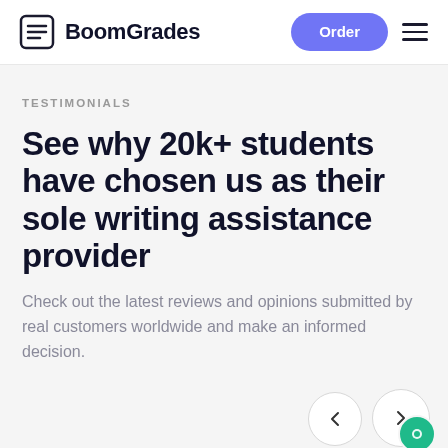BoomGrades — Order
TESTIMONIALS
See why 20k+ students have chosen us as their sole writing assistance provider
Check out the latest reviews and opinions submitted by real customers worldwide and make an informed decision.